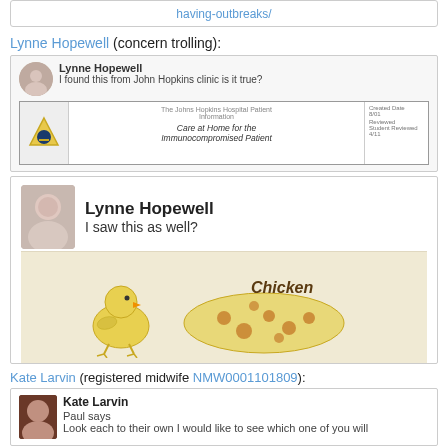[Figure (screenshot): URL bar showing having-outbreaks/ link in blue]
Lynne Hopewell (concern trolling):
[Figure (screenshot): Facebook post by Lynne Hopewell: 'I found this from John Hopkins clinic is it true?' with image of Johns Hopkins Hospital Patient Information document 'Care at Home for the Immunocompromised Patient']
[Figure (screenshot): Facebook post by Lynne Hopewell: 'I saw this as well?' with image showing chicken illustration with text 'Chicken']
Kate Larvin (registered midwife NMW0001101809):
[Figure (screenshot): Facebook post by Kate Larvin: 'Paul says Look each to their own I would like to see which one of you will']